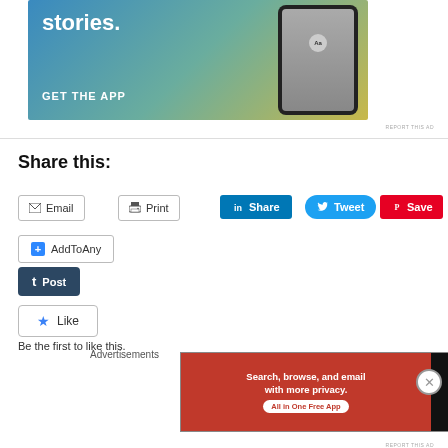[Figure (screenshot): Advertisement banner showing 'stories. GET THE APP' with a phone mockup, gradient blue-teal-yellow background]
REPORT THIS AD
Share this:
Email
Print
Share
Tweet
Save
AddToAny
Post
Like
Be the first to like this.
Advertisements
[Figure (screenshot): DuckDuckGo advertisement: 'Search, browse, and email with more privacy. All in One Free App']